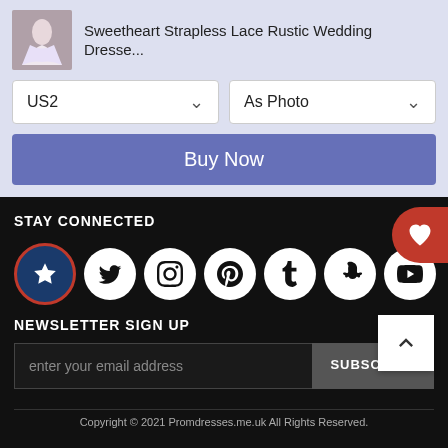Sweetheart Strapless Lace Rustic Wedding Dresse...
US2
As Photo
Buy Now
STAY CONNECTED
[Figure (other): Social media icons row: star/favorites, Twitter, Instagram, Pinterest, Tumblr, Snapchat, YouTube]
NEWSLETTER SIGN UP
enter your email address
SUBSCRIBE
Copyright © 2021 Promdresses.me.uk All Rights Reserved.